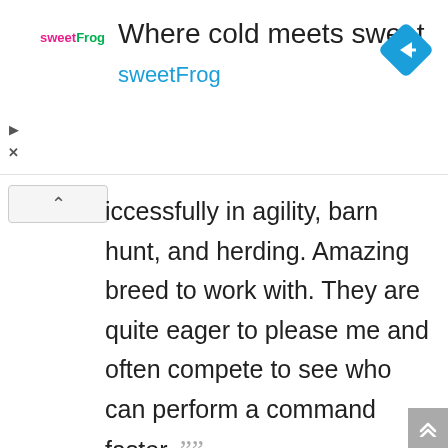[Figure (other): sweetFrog advertisement banner with logo, tagline 'Where cold meets sweet', navigation icon]
iccessfully in agility, barn hunt, and herding. Amazing breed to work with. They are quite eager to please me and often compete to see who can perform a command faster. ””
““ When I came home from having surgery for a knee replacement, Titus knew when he entered the room that I was injured, even though I was sitting in